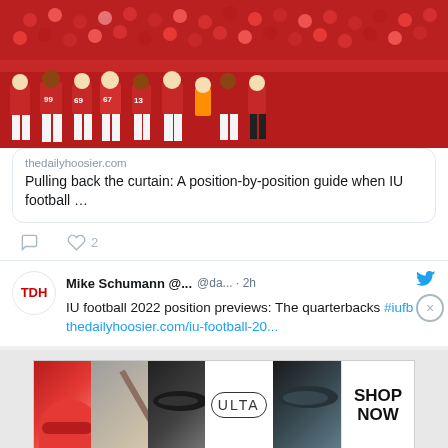[Figure (photo): Football players in red jerseys on a field, crowded stadium scene]
thedailyhoosier.com
Pulling back the curtain: A position-by-position guide when IU football …
♡ 2
Mike Schumann @... @da... · 2h
IU football 2022 position previews: The quarterbacks #iufb
thedailyhoosier.com/iu-football-20...
[Figure (screenshot): Ulta Beauty advertisement banner with makeup imagery and SHOP NOW call to action]